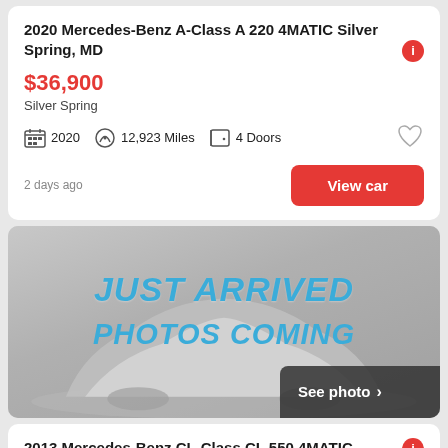2020 Mercedes-Benz A-Class A 220 4MATIC Silver Spring, MD
$36,900
Silver Spring
2020  12,923 Miles  4 Doors
2 days ago
View car
[Figure (photo): Car listing placeholder image showing a covered car silhouette with text JUST ARRIVED PHOTOS COMING SOON and a See photo button]
2013 Mercedes-Benz CL-Class CL 550 4MATIC